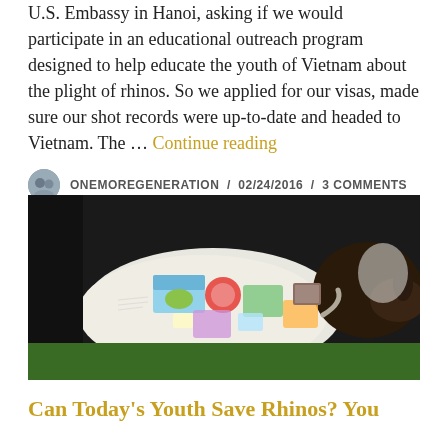U.S. Embassy in Hanoi, asking if we would participate in an educational outreach program designed to help educate the youth of Vietnam about the plight of rhinos. So we applied for our visas, made sure our shot records were up-to-date and headed to Vietnam. The … Continue reading
ONEMOREGENERATION / 02/24/2016 / 3 COMMENTS
[Figure (photo): A paper-mache rhinoceros model covered with children's drawings, artwork, and writing. The rhino stands on what appears to be green grass. The body is white/light colored covered in colorful drawings and text, with a dark brown/black head.]
Can Today's Youth Save Rhinos? You